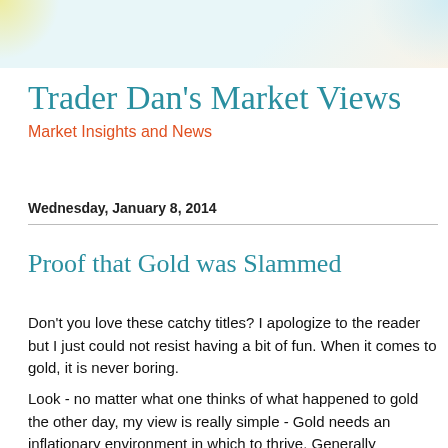Trader Dan's Market Views
Market Insights and News
Wednesday, January 8, 2014
Proof that Gold was Slammed
Don't you love these catchy titles? I apologize to the reader but I just could not resist having a bit of fun. When it comes to gold, it is never boring.
Look - no matter what one thinks of what happened to gold the other day, my view is really simple - Gold needs an inflationary environment in which to thrive. Generally speaking, it also requires an environment in which REAL